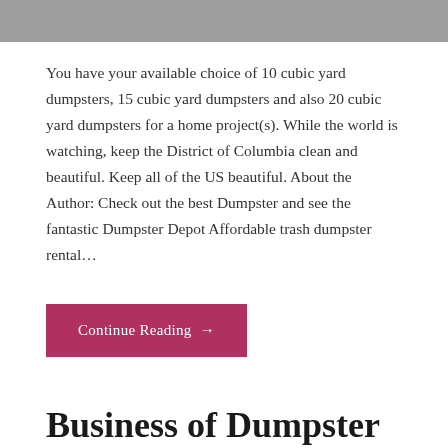[Figure (photo): Gray banner image at the top of the page]
You have your available choice of 10 cubic yard dumpsters, 15 cubic yard dumpsters and also 20 cubic yard dumpsters for a home project(s). While the world is watching, keep the District of Columbia clean and beautiful. Keep all of the US beautiful. About the Author: Check out the best Dumpster and see the fantastic Dumpster Depot Affordable trash dumpster rental…
Continue Reading →
Business of Dumpster Rental Facilities